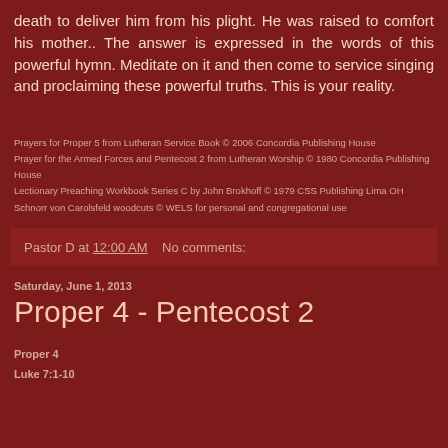death to deliver him from his plight. He was raised to comfort his mother.. The answer is expressed in the words of this powerful hymn. Meditate on it and then come to service singing and proclaiming these powerful truths. This is your reality.
Prayers for Proper 5 from Lutheran Service Book © 2006 Concordia Publishing House
Prayer for the Armed Forces and Pentecost 2 from Lutheran Worship © 1980 Concordia Publishing House
Lectionary Preaching Workbook Series C by John Brokhoff © 1979 CSS Publishing Lima OH
Schnorr von Carolsfeld woodcuts © WELS for personal and congregational use
Pastor D at 12:00 AM    No comments:
Saturday, June 1, 2013
Proper 4 - Pentecost 2
Proper 4
Luke 7:1-10